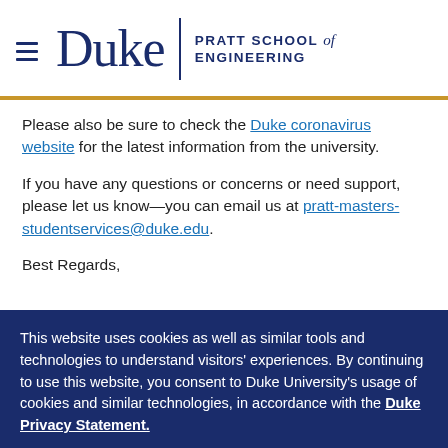Duke | PRATT SCHOOL of ENGINEERING
Please also be sure to check the Duke coronavirus website for the latest information from the university.
If you have any questions or concerns or need support, please let us know—you can email us at pratt-masters-studentservices@duke.edu.
Best Regards,
This website uses cookies as well as similar tools and technologies to understand visitors' experiences. By continuing to use this website, you consent to Duke University's usage of cookies and similar technologies, in accordance with the Duke Privacy Statement.